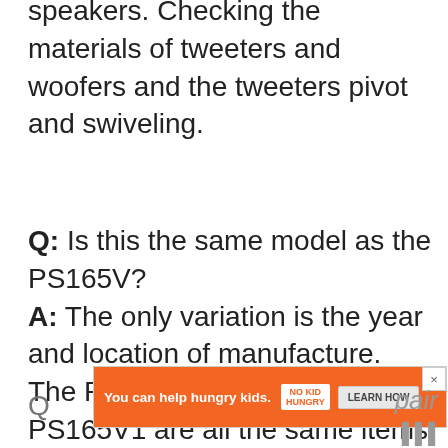speakers. Checking the materials of tweeters and woofers and the tweeters pivot and swiveling.
Q: Is this the same model as the PS165V?
A: The only variation is the year and location of manufacture. The PS165, PS165V, and PS165V1 are all the same items, just different generations. They all share the same parts and specs.
[Figure (other): Orange advertisement banner: 'You can help hungry kids.' with No Kid Hungry logo and Learn How button, with close X button.]